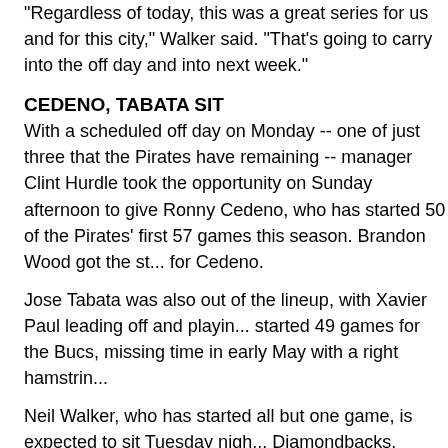"Regardless of today, this was a great series for us and for this city," Walker said. "That's going to carry into the off day and into next week."
CEDENO, TABATA SIT
With a scheduled off day on Monday -- one of just three that the Pirates have remaining -- manager Clint Hurdle took the opportunity on Sunday afternoon to give Ronny Cedeno, who has started 50 of the Pirates' first 57 games this season. Brandon Wood got the start at shortstop for Cedeno.
Jose Tabata was also out of the lineup, with Xavier Paul leading off and playing right field. Tabata has started 49 games for the Bucs, missing time in early May with a right hamstring strain.
Neil Walker, who has started all but one game, is expected to sit Tuesday night against the Diamondbacks.
ROLLINS SITS
Shortstop Jimmy Rollins, who fouled a Charlie Morton pitch off his right knee in Saturday's game and left the contest in the third inning, was out of Sunday's lineup for the Phillies. He has a right patella contusion.
CHANGES COMING?
Pirates manager Clint Hurdle hinted that a roster move to add another left-handed bat could come soon. With Joe Beimel [elbow] back on the DL, the Pirates have just one southpaw reliever in